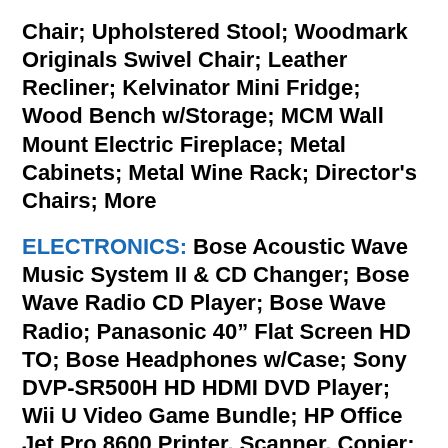Chair; Upholstered Stool; Woodmark Originals Swivel Chair; Leather Recliner; Kelvinator Mini Fridge; Wood Bench w/Storage; MCM Wall Mount Electric Fireplace; Metal Cabinets; Metal Wine Rack; Director's Chairs; More
ELECTRONICS: Bose Acoustic Wave Music System II & CD Changer; Bose Wave Radio CD Player; Bose Wave Radio; Panasonic 40" Flat Screen HD TO; Bose Headphones w/Case; Sony DVP-SR500H HD HDMI DVD Player; Wii U Video Game Bundle; HP Office Jet Pro 8600 Printer, Scanner, Copier; Grundig Classic 960 Hi-Fi AM/FM Shortwave Radio; Sony CFD-444 AM/FM CD Portable Stereo Radio; Apple iPod w/Ignitek iCheer 202 Portable Audio System; Toshiba 15" TO/DVD Player Combo; AT&T Phones; Vintage Slide